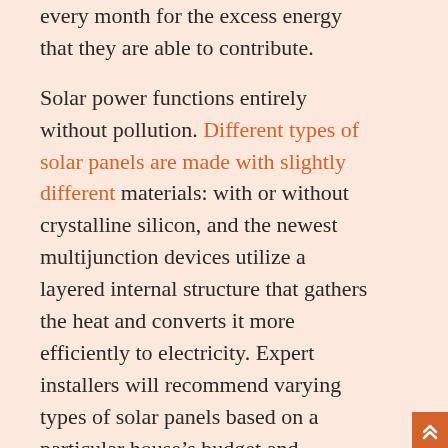every month for the excess energy that they are able to contribute.
Solar power functions entirely without pollution. Different types of solar panels are made with slightly different materials: with or without crystalline silicon, and the newest multijunction devices utilize a layered internal structure that gathers the heat and converts it more efficiently to electricity. Expert installers will recommend varying types of solar panels based on a particular house’s budget and location.
With solar power cost dropping and with the